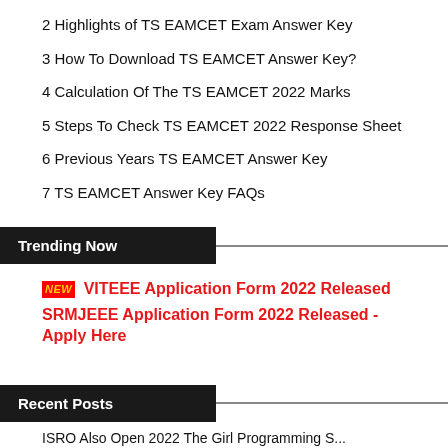2 Highlights of TS EAMCET Exam Answer Key
3 How To Download TS EAMCET Answer Key?
4 Calculation Of The TS EAMCET 2022 Marks
5 Steps To Check TS EAMCET 2022 Response Sheet
6 Previous Years TS EAMCET Answer Key
7 TS EAMCET Answer Key FAQs
Trending Now
NEW VITEEE Application Form 2022 Released
SRMJEEE Application Form 2022 Released - Apply Here
Recent Posts
ISRO Also Open 2022 The Girl Programming S...